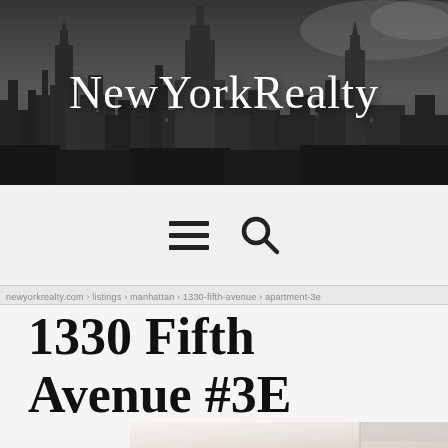[Figure (photo): Black and white New York City skyline panorama used as website header banner background]
NewYorkRealty
[Figure (infographic): Navigation bar with hamburger menu icon and search magnifying glass icon]
breadcrumb navigation bar showing property listing URL path
1330 Fifth Avenue #3E
[Figure (photo): Interior photo of apartment showing light-colored walls and room corner]